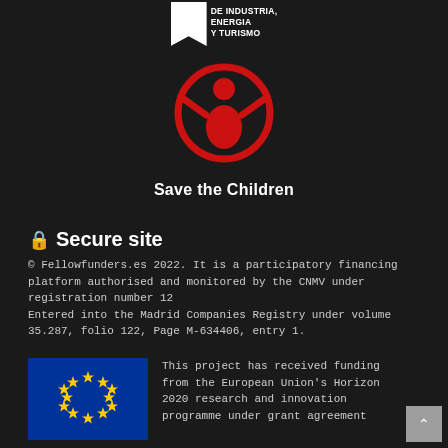[Figure (logo): Ministry logo with bookmark shape and text DE INDUSTRIA, ENERGIA Y TURISMO]
[Figure (logo): Save the Children logo - red figure of child with arms raised in a circle, with text 'Save the Children' below]
🔒 Secure site
© Fellowfunders.es 2022. It is a participatory financing platform authorised and monitored by the CNMV under registration number 12
Entered into the Madrid Companies Registry under volume 35.287, folio 122, Page M-634406, entry 1.
[Figure (logo): European Union flag - blue background with circle of 12 yellow stars]
This project has received funding from the European Union's Horizon 2020 research and innovation programme under grant agreement